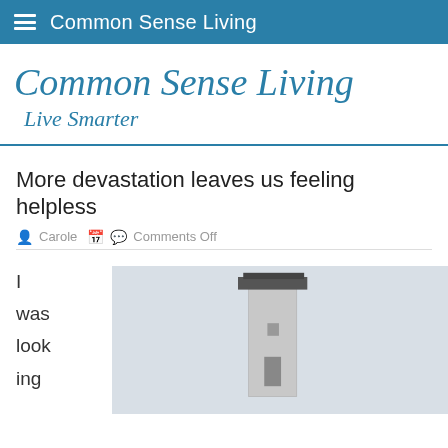Common Sense Living
Common Sense Living
Live Smarter
More devastation leaves us feeling helpless
Carole   Comments Off
I was look ing
[Figure (photo): A tall concrete chimney or tower structure against a light grey sky, photographed from a low angle.]